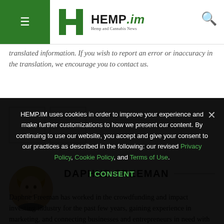HEMP.im - Hemp and Cannabis News
translated information. If you wish to report an error or inaccuracy in the translation, we encourage you to contact us.
[Figure (other): Navigation arrows: left arrow button and right arrow button]
DAPHNE FREEMAN
Daphne Freeman has worked in the crowdfunding and impact investing industry for the past few years, gaining experience in marketing, and connecting businesses and entrepreneurs in need with the right
HEMP.IM uses cookies in order to improve your experience and make further customizations to how we present our content. By continuing to use our website, you accept and give your consent to our practices as described in the following: our revised Privacy Policy, Cookie Policy, and Terms of Use.
I CONSENT